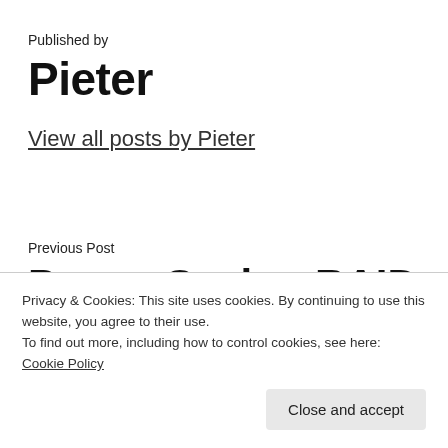Published by
Pieter
View all posts by Pieter
Previous Post
Power Saving RAID Controller (Continued)
Privacy & Cookies: This site uses cookies. By continuing to use this website, you agree to their use.
To find out more, including how to control cookies, see here: Cookie Policy
Close and accept